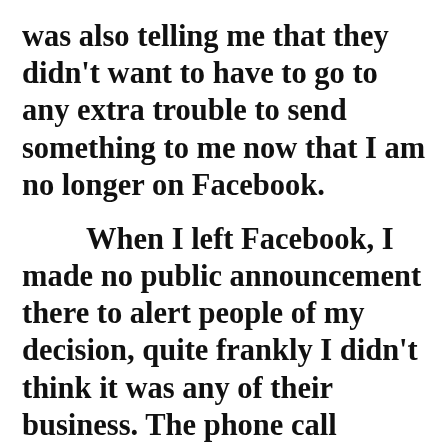was also telling me that they didn't want to have to go to any extra trouble to send something to me now that I am no longer on Facebook.

    When I left Facebook, I made no public announcement there to alert people of my decision, quite frankly I didn't think it was any of their business. The phone call proved me right. It has been about a month since I dropped off, and this was the first time that anyone has bothered to question me about